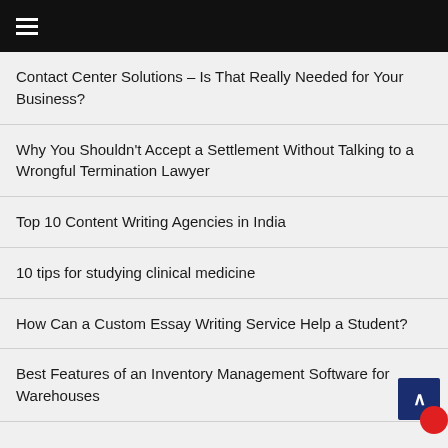≡
Contact Center Solutions – Is That Really Needed for Your Business?
Why You Shouldn't Accept a Settlement Without Talking to a Wrongful Termination Lawyer
Top 10 Content Writing Agencies in India
10 tips for studying clinical medicine
How Can a Custom Essay Writing Service Help a Student?
Best Features of an Inventory Management Software for Warehouses